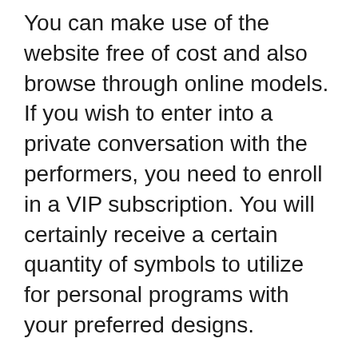You can make use of the website free of cost and also browse through online models. If you wish to enter into a private conversation with the performers, you need to enroll in a VIP subscription. You will certainly receive a certain quantity of symbols to utilize for personal programs with your preferred designs.
Pros
There is a pretty varied catalog of models on the site
The website has a straightforward layout and is easy to use
There is consistent rates, which is not typical in other sites
The site is mobile-friendly as well as